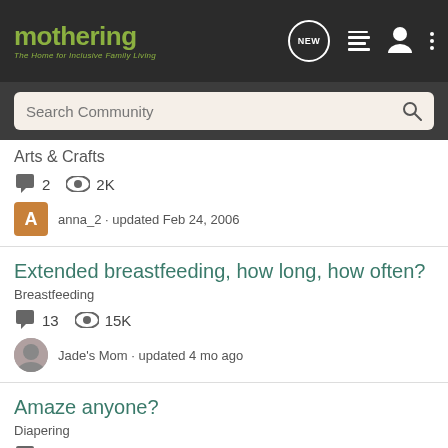[Figure (logo): Mothering logo with green text and tagline 'The Home for Inclusive Family Living' on dark background header with nav icons]
Search Community
Arts & Crafts — 2 comments, 2K views — anna_2 · updated Feb 24, 2006
Extended breastfeeding, how long, how often?
Breastfeeding
13 comments, 15K views — Jade's Mom · updated 4 mo ago
Amaze anyone?
Diapering
5 comments, 3K views